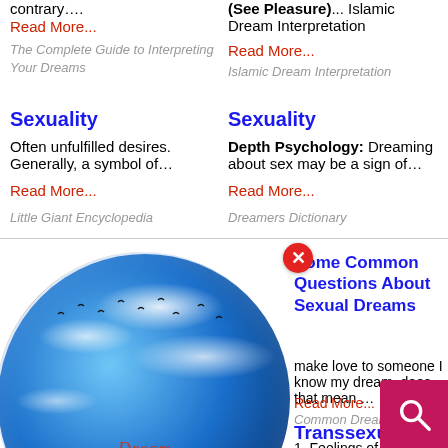contrary….
Read More...
The Complete Guide to Interpreting Your Dreams
(See Pleasure)... Islamic Dream Interpretation
Read More...
Islamic Dream Interpretation
Sexuality
Often unfulfilled desires. Generally, a symbol of…
Read More...
Little Giant Encyclopedia
Sexuality
Depth Psychology: Dreaming about sex may be a sign of…
Read More...
Dreamers Dictionary
[Figure (logo): Dream Encyclopedia globe logo with blue globe and red script text]
Some Common Questions About Sexual Dreams
make love to someone I know my dream, does that mean …
Read More...
Common Dreams
Transsexual
1. Feelings of confusion ered i… regarding the gender roles of